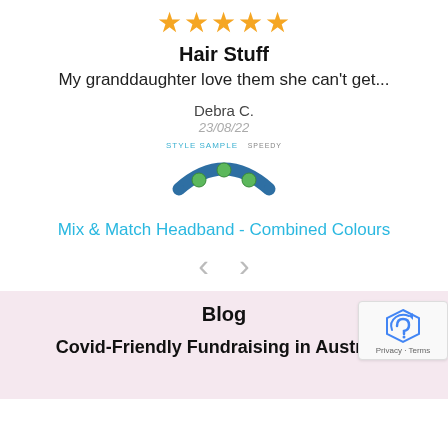[Figure (other): Five gold/yellow star rating icons]
Hair Stuff
My granddaughter love them she can't get...
Debra C.
23/08/22
[Figure (photo): Product image of a blue and green Mix & Match Headband with STYLE SAMPLE label]
Mix & Match Headband - Combined Colours
[Figure (other): Left and right navigation chevron arrows]
Blog
Covid-Friendly Fundraising in Australia